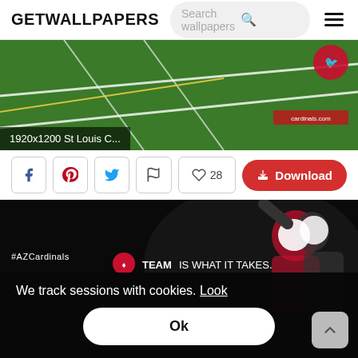GETWALLPAPERS
[Figure (screenshot): Football field wallpaper image with green grass, white yard lines, yellow end zone stripe. Cardinals logo top right. Text overlay '1920x1200 St Louis C...' bottom left. cardinals.com watermark.]
1920x1200 St Louis C...
[Figure (screenshot): Social action bar with Facebook, Pinterest, Twitter, flag icons, heart/like count 28, and red Download button]
[Figure (screenshot): Arizona Cardinals dark wallpaper with players celebrating, text TEAM IS WHAT IT TAKES., #AZCardinals tag]
We track sessions with cookies. Look
Ok